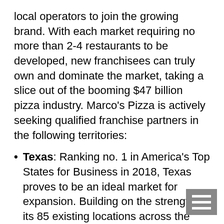local operators to join the growing brand. With each market requiring no more than 2-4 restaurants to be developed, new franchisees can truly own and dominate the market, taking a slice out of the booming $47 billion pizza industry. Marco's Pizza is actively seeking qualified franchise partners in the following territories:
Texas: Ranking no. 1 in America's Top States for Business in 2018, Texas proves to be an ideal market for expansion. Building on the strength of its 85 existing locations across the state, Marco's Pizza is seeking development in Lubbock, which can hold seven locations, and Longview/Tyler which has potential for three locations.
Georgia: Marco's Pizza has found incredible success here with more than 100 active locations, 90 of which operate in the Atlanta hub. Georgia continues